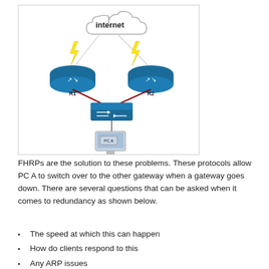[Figure (network-graph): Network diagram showing a cloud labeled 'internet' at the top connected via lightning bolt lines to two routers labeled R1 (left) and R2 (right). R1 and R2 connect via red lines to a switch in the middle. The switch connects down via a line to a computer labeled PC A.]
FHRPs are the solution to these problems. These protocols allow PC A to switch over to the other gateway when a gateway goes down. There are several questions that can be asked when it comes to redundancy as shown below.
The speed at which this can happen
How do clients respond to this
Any ARP issues